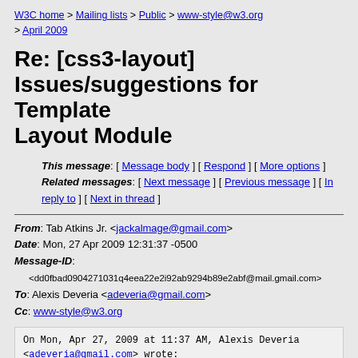W3C home > Mailing lists > Public > www-style@w3.org > April 2009
Re: [css3-layout] Issues/suggestions for Template Layout Module
This message: [ Message body ] [ Respond ] [ More options ]
Related messages: [ Next message ] [ Previous message ] [ In reply to ] [ Next in thread ]
From: Tab Atkins Jr. <jackalmage@gmail.com>
Date: Mon, 27 Apr 2009 12:31:37 -0500
Message-ID:
<dd0fbad0904271031q4eea22e2i92ab9294b89e2abf@mail.gmail.com>
To: Alexis Deveria <adeveria@gmail.com>
Cc: www-style@w3.org
On Mon, Apr 27, 2009 at 11:37 AM, Alexis Deveria <adeveria@gmail.com> wrote:
> Some issues that came up when working on my